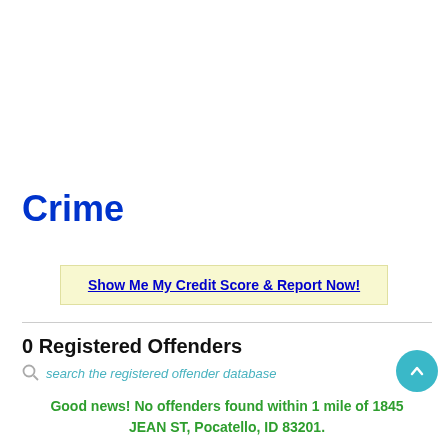Crime
Show Me My Credit Score & Report Now!
0 Registered Offenders
search the registered offender database
Good news! No offenders found within 1 mile of 1845 JEAN ST, Pocatello, ID 83201.